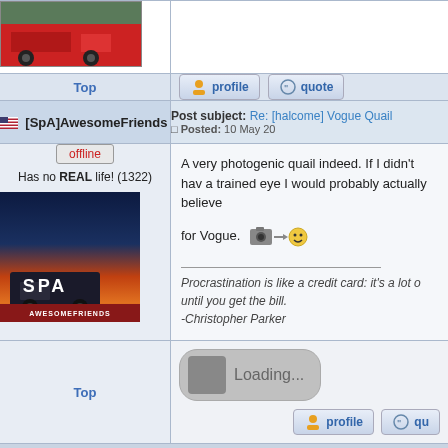[Figure (screenshot): Forum post screenshot showing a fire truck image at top (partial), a post by [SpA]AwesomeFriends with username, offline status, avatar showing an ambulance with SPA and AWESOMEFRIENDS text, and post content about a photogenic quail, along with profile/quote buttons, a loading button, and a display posts control bar at bottom.]
Top
profile
quote
[SpA]AwesomeFriends
Post subject: Re: [halcome] Vogue Quail
Posted: 10 May 20
offline
Has no REAL life! (1322)
A very photogenic quail indeed. If I didn't have a trained eye I would probably actually believe for Vogue.
Procrastination is like a credit card: it's a lot of fun until you get the bill.
-Christopher Parker
Top
Loading...
profile
qu
Display posts from previous:
All posts
Sort by
Post time